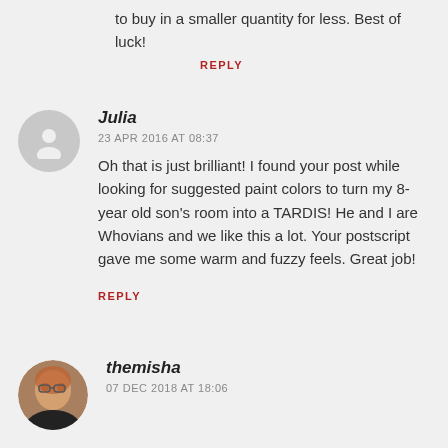to buy in a smaller quantity for less. Best of luck!
REPLY
Julia
23 APR 2016 AT 08:37
Oh that is just brilliant! I found your post while looking for suggested paint colors to turn my 8-year old son's room into a TARDIS! He and I are Whovians and we like this a lot. Your postscript gave me some warm and fuzzy feels. Great job!
REPLY
[Figure (photo): Profile photo of themisha, a person with red/auburn hair and glasses]
themisha
07 DEC 2018 AT 18:06